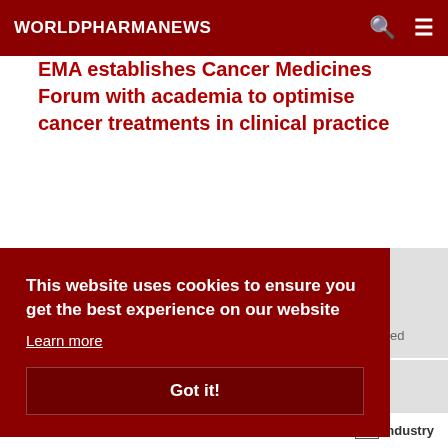WORLDPHARMANEWS
EMA establishes Cancer Medicines Forum with academia to optimise cancer treatments in clinical practice
This website uses cookies to ensure you get the best experience on our website
Learn more
Got it!
Home  Industry